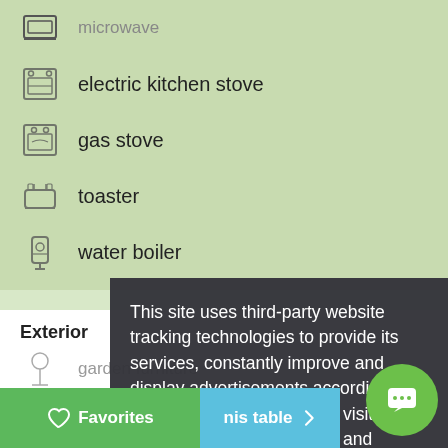electric kitchen stove
gas stove
toaster
water boiler
Exterior
garden furniture
barbecue
deck chair
sunlounger
cot
parking
sand-box
terrace
[Figure (screenshot): Cookie consent overlay dialog with dark background stating: 'This site uses third-party website tracking technologies to provide its services, constantly improve and display advertisements according to users. In principle, you can visit our site without setting cookies and revoke or change your consent at any time with effect for the future. more infos' with a blue 'Allow cookies' button]
This site uses third-party website tracking technologies to provide its services, constantly improve and display advertisements according to users. In principle, you can visit our site without setting cookies and revoke or change your consent at any time with effect for the future. more infos
Allow cookies
Favorites
nis table